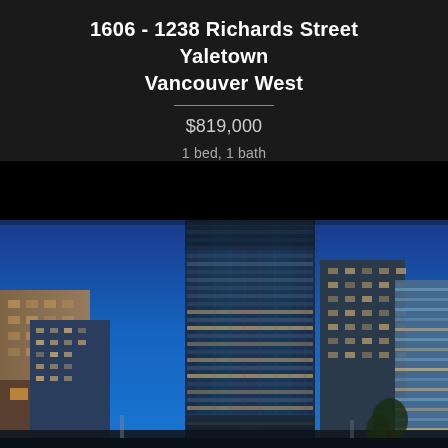1606 - 1238 Richards Street
Yaletown
Vancouver West
$819,000
1 bed, 1 bath
[Figure (photo): Exterior night/dusk photo of a tall glass skyscraper in Yaletown, Vancouver, surrounded by other downtown high-rises and buildings, taken from street level looking upward. Deep blue sky visible.]